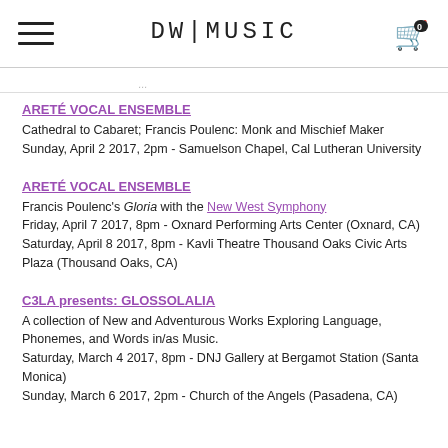DW|MUSIC
...
ARETÉ VOCAL ENSEMBLE
Cathedral to Cabaret; Francis Poulenc: Monk and Mischief Maker
Sunday, April 2 2017, 2pm - Samuelson Chapel, Cal Lutheran University
ARETÉ VOCAL ENSEMBLE
Francis Poulenc's Gloria with the New West Symphony
Friday, April 7 2017, 8pm - Oxnard Performing Arts Center (Oxnard, CA)
Saturday, April 8 2017, 8pm - Kavli Theatre Thousand Oaks Civic Arts Plaza (Thousand Oaks, CA)
C3LA presents: GLOSSOLALIA
A collection of New and Adventurous Works Exploring Language, Phonemes, and Words in/as Music.
Saturday, March 4 2017, 8pm - DNJ Gallery at Bergamot Station (Santa Monica)
Sunday, March 6 2017, 2pm - Church of the Angels (Pasadena, CA)